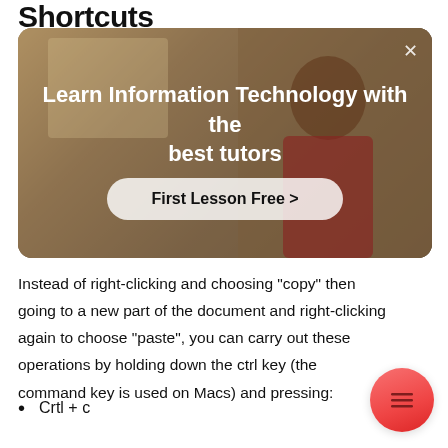Shortcuts
[Figure (screenshot): Advertisement banner showing 'Learn Information Technology with the best tutors' with a 'First Lesson Free >' button, overlaid on a photo of a person in a room. Has an X close button in top right.]
Instead of right-clicking and choosing “copy” then going to a new part of the document and right-clicking again to choose “paste”, you can carry out these operations by holding down the ctrl key (the command key is used on Macs) and pressing:
Crtl + c